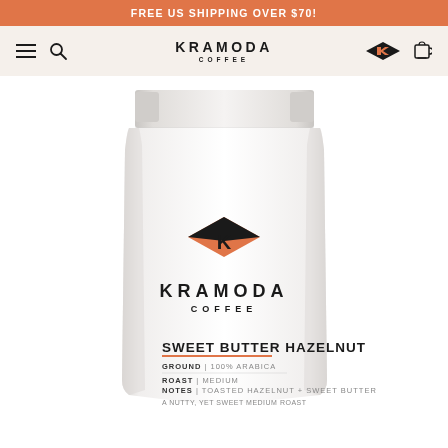FREE US SHIPPING OVER $70!
KRAMODA COFFEE
[Figure (photo): Kramoda Coffee white bag product photo — Sweet Butter Hazelnut ground coffee, 100% Arabica, medium roast, notes: Toasted Hazelnut + Sweet Butter. A nutty, yet sweet medium roast. Kramoda Coffee logo (orange diamond with K letterform) on the bag.]